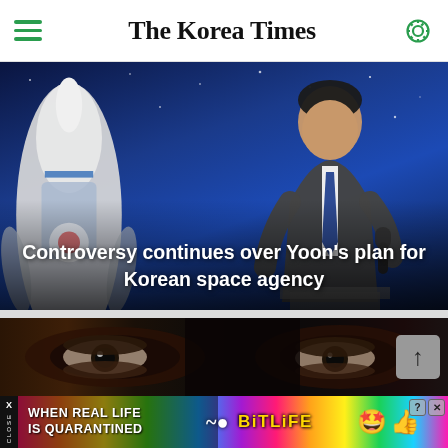The Korea Times
[Figure (photo): A man in a suit speaking at a podium with a microphone, in front of a large rocket model display against a space-themed blue background. Overlay text reads: Controversy continues over Yoon's plan for Korean space agency]
Controversy continues over Yoon's plan for Korean space agency
[Figure (photo): Close-up of a pair of eyes looking forward against a dark background, with a scroll-up arrow button on the right side]
[Figure (other): Advertisement banner: WHEN REAL LIFE IS QUARANTINED — BitLife mobile game ad with rainbow background and emoji icons]